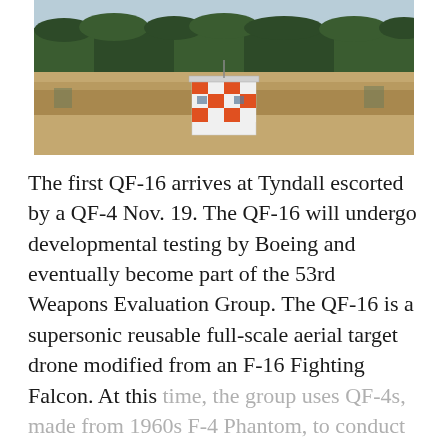[Figure (photo): A photograph of a flat airfield or rural area with an orange and white checkered control tower or range safety building in the center. A dense line of pine trees forms the background horizon under a pale blue sky.]
The first QF-16 arrives at Tyndall escorted by a QF-4 Nov. 19. The QF-16 will undergo developmental testing by Boeing and eventually become part of the 53rd Weapons Evaluation Group. The QF-16 is a supersonic reusable full-scale aerial target drone modified from an F-16 Fighting Falcon. At this time, the group uses QF-4s, made from 1960s F-4 Phantom, to conduct their full-scale aerial target missions.